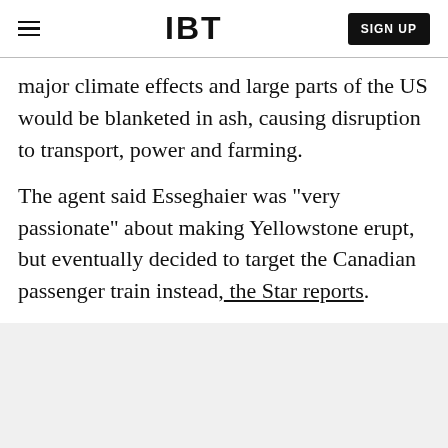IBT | SIGN UP
major climate effects and large parts of the US would be blanketed in ash, causing disruption to transport, power and farming.
The agent said Esseghaier was "very passionate" about making Yellowstone erupt, but eventually decided to target the Canadian passenger train instead, the Star reports.